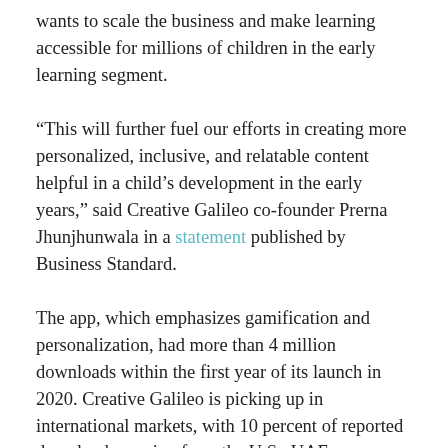wants to scale the business and make learning accessible for millions of children in the early learning segment.
“This will further fuel our efforts in creating more personalized, inclusive, and relatable content helpful in a child’s development in the early years,” said Creative Galileo co-founder Prerna Jhunjhunwala in a statement published by Business Standard.
The app, which emphasizes gamification and personalization, had more than 4 million downloads within the first year of its launch in 2020. Creative Galileo is picking up in international markets, with 10 percent of reported downloads coming from the U.S., UAE,